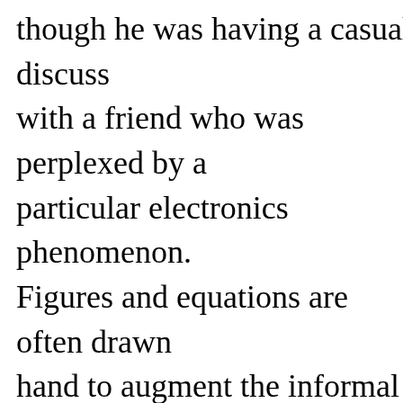though he was having a casual discussion with a friend who was perplexed by a particular electronics phenomenon. Figures and equations are often drawn by hand to augment the informal setting rather than being typeset. Here, "Larry" is amazed by the great performance of ability to filter out adjacent channel in "Ken" takes the opportunity to explain